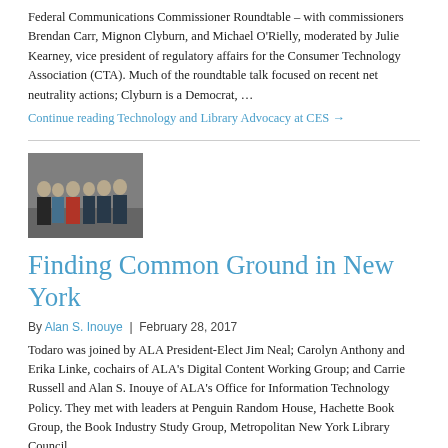Federal Communications Commissioner Roundtable – with commissioners Brendan Carr, Mignon Clyburn, and Michael O'Rielly, moderated by Julie Kearney, vice president of regulatory affairs for the Consumer Technology Association (CTA). Much of the roundtable talk focused on recent net neutrality actions; Clyburn is a Democrat, …
Continue reading Technology and Library Advocacy at CES →
[Figure (photo): Group photo of several people standing together indoors]
Finding Common Ground in New York
By Alan S. Inouye | February 28, 2017
Todaro was joined by ALA President-Elect Jim Neal; Carolyn Anthony and Erika Linke, cochairs of ALA's Digital Content Working Group; and Carrie Russell and Alan S. Inouye of ALA's Office for Information Technology Policy. They met with leaders at Penguin Random House, Hachette Book Group, the Book Industry Study Group, Metropolitan New York Library Council, …